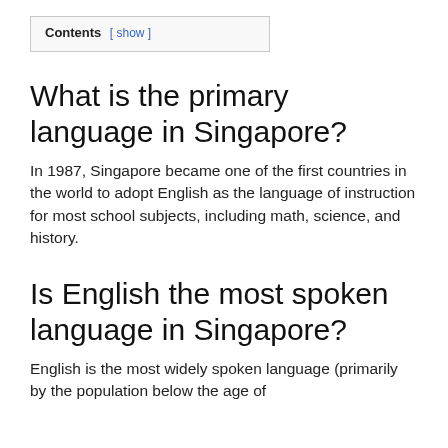Contents [ show ]
What is the primary language in Singapore?
In 1987, Singapore became one of the first countries in the world to adopt English as the language of instruction for most school subjects, including math, science, and history.
Is English the most spoken language in Singapore?
English is the most widely spoken language (primarily by the population below the age of